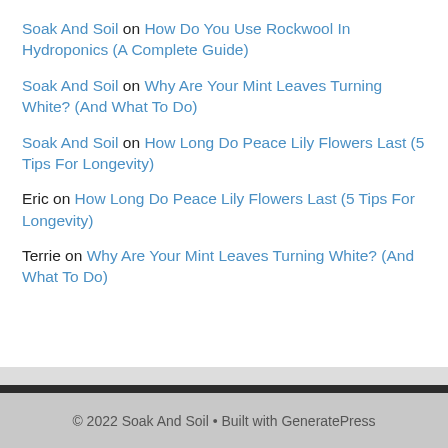Soak And Soil on How Do You Use Rockwool In Hydroponics (A Complete Guide)
Soak And Soil on Why Are Your Mint Leaves Turning White? (And What To Do)
Soak And Soil on How Long Do Peace Lily Flowers Last (5 Tips For Longevity)
Eric on How Long Do Peace Lily Flowers Last (5 Tips For Longevity)
Terrie on Why Are Your Mint Leaves Turning White? (And What To Do)
© 2022 Soak And Soil • Built with GeneratePress